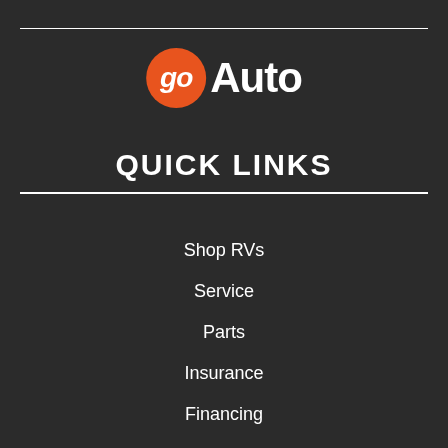[Figure (logo): goAuto logo with orange circle containing 'go' in white italic text and 'Auto' in white bold text]
QUICK LINKS
Shop RVs
Service
Parts
Insurance
Financing
About Us
Find a Store